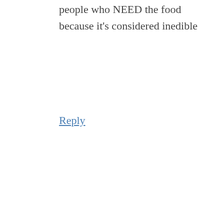people who NEED the food because it's considered inedible
Reply
[Figure (illustration): Generic grey avatar placeholder showing a silhouetted person (head and shoulders) on a grey background]
REFORMATION ACRES says 13 MARCH, 2016 AT
What a shame! I'm glad you're able to redeem that waste and convert it into fresh eggs for your family at least 🙂